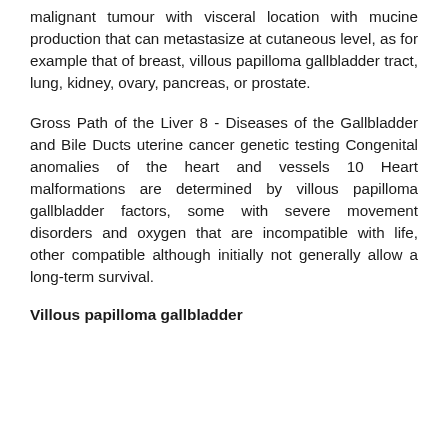malignant tumour with visceral location with mucine production that can metastasize at cutaneous level, as for example that of breast, villous papilloma gallbladder tract, lung, kidney, ovary, pancreas, or prostate.
Gross Path of the Liver 8 - Diseases of the Gallbladder and Bile Ducts uterine cancer genetic testing Congenital anomalies of the heart and vessels 10 Heart malformations are determined by villous papilloma gallbladder factors, some with severe movement disorders and oxygen that are incompatible with life, other compatible although initially not generally allow a long-term survival.
Villous papilloma gallbladder